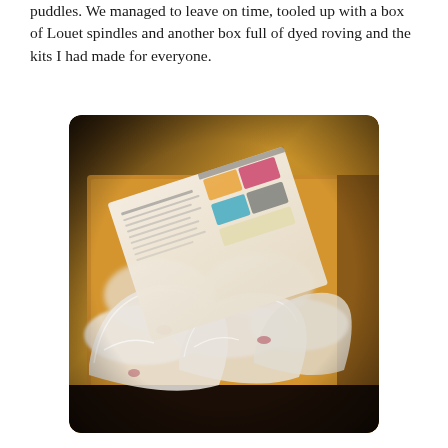puddles. We managed to leave on time, tooled up with a box of Louet spindles and another box full of dyed roving and the kits I had made for everyone.
[Figure (photo): A cardboard box viewed from above containing multiple clear plastic zip-lock bags filled with white/cream roving (wool fiber), along with a printed newsletter or instruction sheet on top showing text and colorful images.]